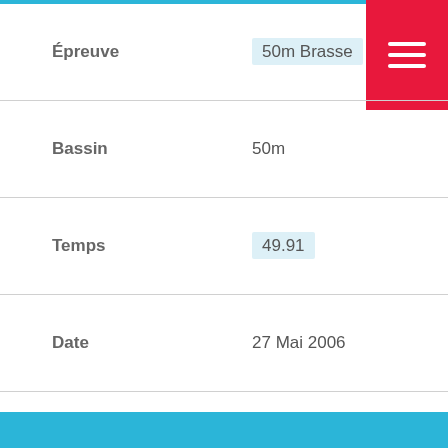| Field | Value |
| --- | --- |
| Épreuve | 50m Brasse |
| Bassin | 50m |
| Temps | 49.91 |
| Date | 27 Mai 2006 |
| Compétition | Invitation P1-P2 |
| Status |  |